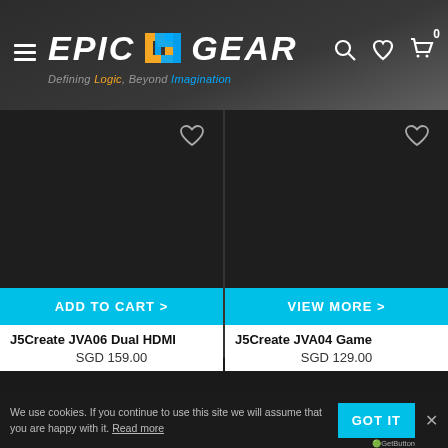[Figure (logo): EpicGear logo with orange and blue stylized G icon, white italic text 'EPIC' and 'GEAR', tagline 'Defining Logic, Beyond Imagination']
[Figure (infographic): Two product cards on dark background with heart/wishlist icons, product images not loaded (dark area), ADD TO CART and VIEW MORE buttons in cyan]
J5Create JVA06 Dual HDMI
SGD 159.00
J5Create JVA04 Game
SGD 129.00
We use cookies. If you continue to use this site we will assume that you are happy with it. Read more